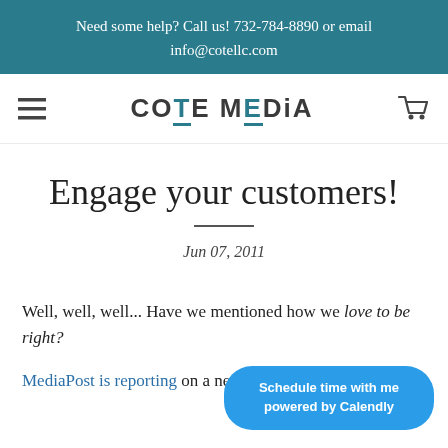Need some help? Call us! 732-784-8890 or email info@cotellc.com
[Figure (logo): Cote Media logo with hamburger menu icon on left and shopping cart icon on right]
Engage your customers!
Jun 07, 2011
Well, well, well... Have we mentioned how we love to be right?
MediaPost is reporting on a newly released study that